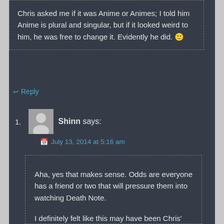Chris asked me if it was Anime or Animes; I told him Anime is plural and singular, but if it looked weird to him, he was free to change it. Evidently he did. 🙂
↩ Reply
1. Shinn says:
📅 July 13, 2014 at 5:16 am
Aha, yes that makes sense. Odds are everyone has a friend or two that will pressure them into watching Death Note.

I definitely felt like this may have been Chris' doing, that's why I added that last sentence.

I feel like I need to mention that the word